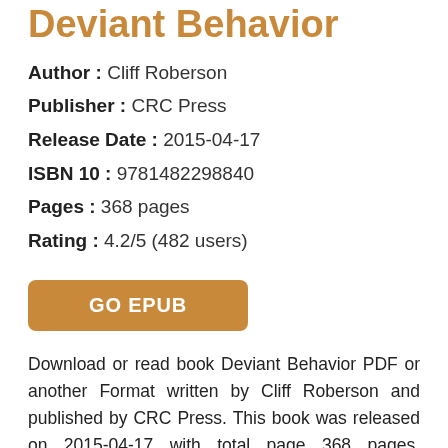Deviant Behavior
Author : Cliff Roberson
Publisher : CRC Press
Release Date : 2015-04-17
ISBN 10 : 9781482298840
Pages : 368 pages
Rating : 4.2/5 (482 users)
GO EPUB
Download or read book Deviant Behavior PDF or another Format written by Cliff Roberson and published by CRC Press. This book was released on 2015-04-17 with total page 368 pages. Available in PDF, EPUB and Kindle. Book excerpt: Deviant behavior is not a subject that